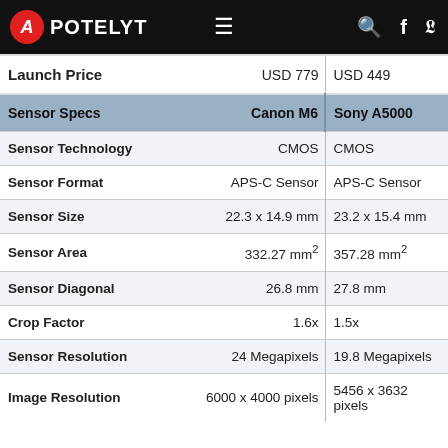APOTELYT
| Sensor Specs | Canon M6 | Sony A5000 |
| --- | --- | --- |
| Launch Price | USD 779 | USD 449 |
| Sensor Technology | CMOS | CMOS |
| Sensor Format | APS-C Sensor | APS-C Sensor |
| Sensor Size | 22.3 x 14.9 mm | 23.2 x 15.4 mm |
| Sensor Area | 332.27 mm² | 357.28 mm² |
| Sensor Diagonal | 26.8 mm | 27.8 mm |
| Crop Factor | 1.6x | 1.5x |
| Sensor Resolution | 24 Megapixels | 19.8 Megapixels |
| Image Resolution | 6000 x 4000 pixels | 5456 x 3632 pixels |